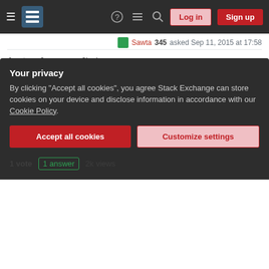[Figure (screenshot): Stack Exchange navigation header with hamburger menu, logo, help/chat/search icons, Log in and Sign up buttons]
Sawta 345 asked Sep 11, 2015 at 17:58
4 votes  0 answers  2k views
Visual Studio 2015 full completely offline distributive [closed]
I'm wondering is there a way to download all external components of VS 2015 (Apache Cordova, Android SDK, Python tools, lots of JS libs etc) to create a…
installation
iso
visual-studio
distribution
vlad2135 141 asked Jul 23, 2015 at 9:29
3 votes  2 answers  142 views
Certificate distribution and management
Your privacy
By clicking "Accept all cookies", you agree Stack Exchange can store cookies on your device and disclose information in accordance with our Cookie Policy.
Accept all cookies
Customize settings
1 vote  1 answer  2k views